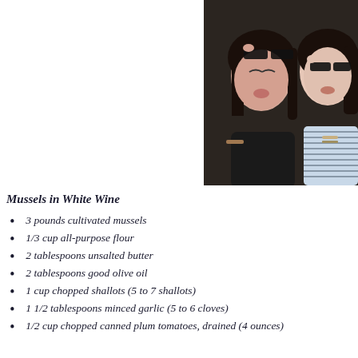[Figure (photo): Two young women making funny faces and posing with sunglasses at what appears to be a social event or party. One wears a black top and the other wears a blue and white striped top.]
Mussels in White Wine
3 pounds cultivated mussels
1/3 cup all-purpose flour
2 tablespoons unsalted butter
2 tablespoons good olive oil
1 cup chopped shallots (5 to 7 shallots)
1 1/2 tablespoons minced garlic (5 to 6 cloves)
1/2 cup chopped canned plum tomatoes, drained (4 ounces)